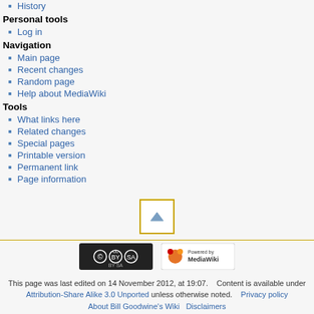History
Personal tools
Log in
Navigation
Main page
Recent changes
Random page
Help about MediaWiki
Tools
What links here
Related changes
Special pages
Printable version
Permanent link
Page information
[Figure (other): Scroll to top button with upward triangle arrow, orange border]
[Figure (logo): Creative Commons Attribution-Share Alike license badge]
[Figure (logo): Powered by MediaWiki badge]
This page was last edited on 14 November 2012, at 19:07. Content is available under Attribution-Share Alike 3.0 Unported unless otherwise noted. Privacy policy About Bill Goodwine's Wiki Disclaimers